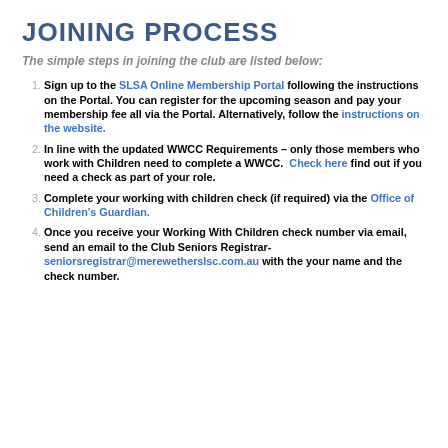JOINING PROCESS
The simple steps in joining the club are listed below:
Sign up to the SLSA Online Membership Portal following the instructions on the Portal. You can register for the upcoming season and pay your membership fee all via the Portal. Alternatively, follow the instructions on the website.
In line with the updated WWCC Requirements – only those members who work with Children need to complete a WWCC. Check here find out if you need a check as part of your role.
Complete your working with children check (if required) via the Office of Children's Guardian.
Once you receive your Working With Children check number via email, send an email to the Club Seniors Registrar- seniorsregistrar@merewetherslsc.com.au with the your name and the check number.